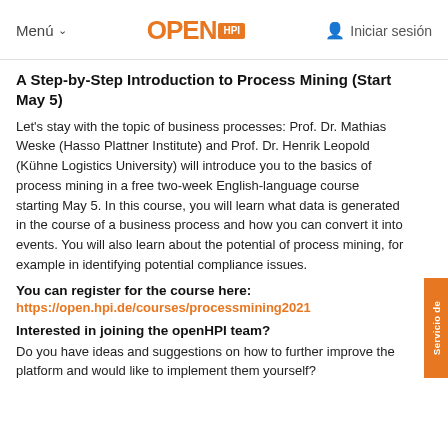Menú  OPEN HPI  Iniciar sesión
A Step-by-Step Introduction to Process Mining (Start May 5)
Let's stay with the topic of business processes: Prof. Dr. Mathias Weske (Hasso Plattner Institute) and Prof. Dr. Henrik Leopold (Kühne Logistics University) will introduce you to the basics of process mining in a free two-week English-language course starting May 5. In this course, you will learn what data is generated in the course of a business process and how you can convert it into events. You will also learn about the potential of process mining, for example in identifying potential compliance issues.
You can register for the course here:
https://open.hpi.de/courses/processmining2021
Interested in joining the openHPI team?
Do you have ideas and suggestions on how to further improve the platform and would like to implement them yourself?